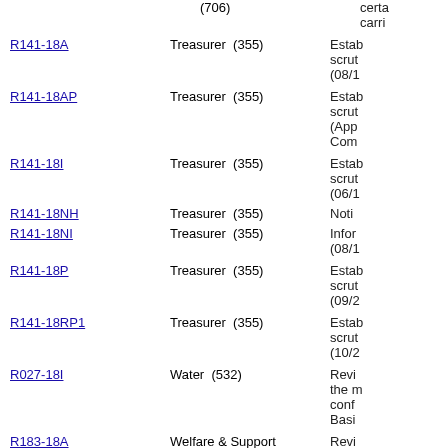(706)  certain  carri...
R141-18A  Treasurer (355)  Estab... scrut... (08/1...
R141-18AP  Treasurer (355)  Estab... scrut... (App... Com...
R141-18I  Treasurer (355)  Estab... scrut... (06/1...
R141-18NH  Treasurer (355)  Noti...
R141-18NI  Treasurer (355)  Infor... (08/1...
R141-18P  Treasurer (355)  Estab... scrut... (09/2...
R141-18RP1  Treasurer (355)  Estab... scrut... (10/2...
R027-18I  Water (532)  Revi... the m... conf... Basi...
R183-18A  Welfare & Support Services (425)  Revi... guide...
R183-18AP  Welfare & Support  Revi...